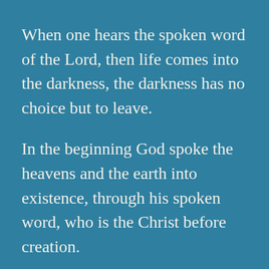When one hears the spoken word of the Lord, then life comes into the darkness, the darkness has no choice but to leave.
In the beginning God spoke the heavens and the earth into existence, through his spoken word, who is the Christ before creation.
In the beginning was the Word, and the